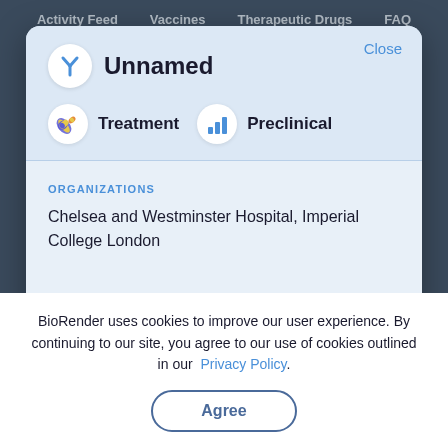Activity Feed   Vaccines   Therapeutic Drugs   FAQ
[Figure (screenshot): Modal card showing an unnamed item with antibody Y icon, Treatment and Preclinical badges, and Organizations: Chelsea and Westminster Hospital, Imperial College London. Close button in top right.]
ORGANIZATIONS
Chelsea and Westminster Hospital, Imperial College London
BioRender uses cookies to improve our user experience. By continuing to our site, you agree to our use of cookies outlined in our Privacy Policy.